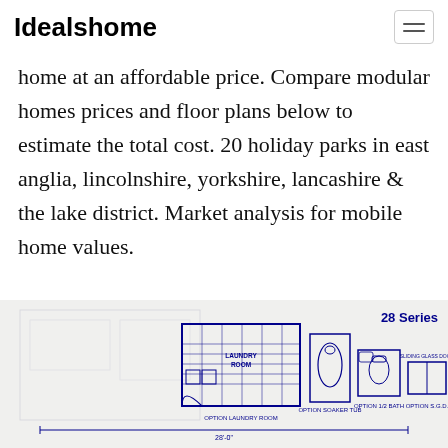Idealshome
home at an affordable price. Compare modular homes prices and floor plans below to estimate the total cost. 20 holiday parks in east anglia, lincolnshire, yorkshire, lancashire & the lake district. Market analysis for mobile home values.
[Figure (engineering-diagram): Floor plan diagram showing '28 Series' with options including: OPTION SOAKER TUB, OPTION 1/2 BATH, OPTION LAUNDRY ROOM, OPTION S.G.D. Blueprint-style line drawing in dark blue on light background.]